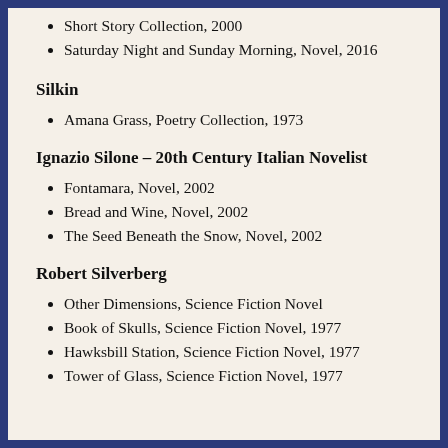Short Story Collection, 2000
Saturday Night and Sunday Morning, Novel, 2016
Silkin
Amana Grass, Poetry Collection, 1973
Ignazio Silone – 20th Century Italian Novelist
Fontamara, Novel, 2002
Bread and Wine, Novel, 2002
The Seed Beneath the Snow, Novel, 2002
Robert Silverberg
Other Dimensions, Science Fiction Novel
Book of Skulls, Science Fiction Novel, 1977
Hawksbill Station, Science Fiction Novel, 1977
Tower of Glass, Science Fiction Novel, 1977